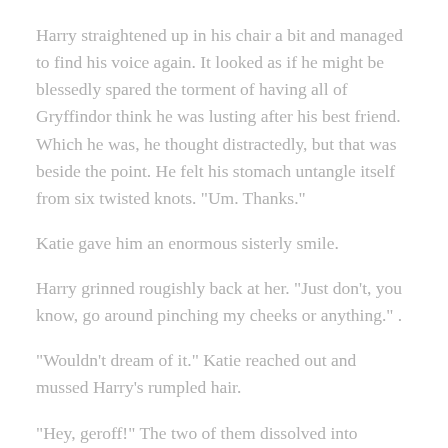Harry straightened up in his chair a bit and managed to find his voice again. It looked as if he might be blessedly spared the torment of having all of Gryffindor think he was lusting after his best friend. Which he was, he thought distractedly, but that was beside the point. He felt his stomach untangle itself from six twisted knots. "Um. Thanks."
Katie gave him an enormous sisterly smile.
Harry grinned rougishly back at her. "Just don't, you know, go around pinching my cheeks or anything." .
"Wouldn't dream of it." Katie reached out and mussed Harry's rumpled hair.
"Hey, geroff!" The two of them dissolved into laughter as Harry swatted Katie's arm away.
"Now seriously," Katie regarded him gravely for a moment, then took a deep breath. "Harry, you know this is the last thing I'd